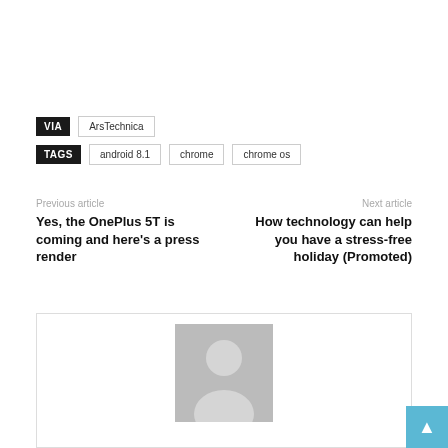VIA   ArsTechnica
TAGS   android 8.1   chrome   chrome os
Previous article
Yes, the OnePlus 5T is coming and here's a press render
Next article
How technology can help you have a stress-free holiday (Promoted)
[Figure (illustration): Default user avatar placeholder image — grey silhouette of a person on a light grey background]